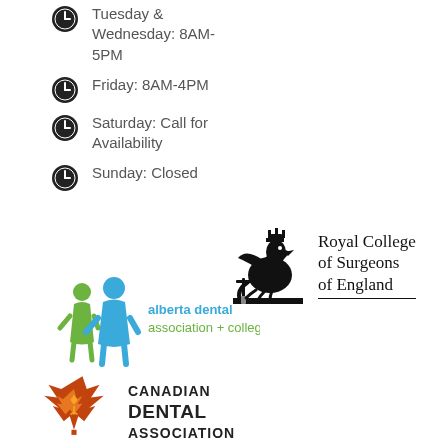Tuesday & Wednesday: 8AM-5PM
Friday: 8AM-4PM
Saturday: Call for Availability
Sunday: Closed
[Figure (logo): Royal College of Surgeons of England logo with heraldic griffin holding a sword]
[Figure (logo): Alberta Dental Association + College logo with stylized figures in green and blue]
[Figure (logo): Canadian Dental Association logo with maple leaf and dental motif]